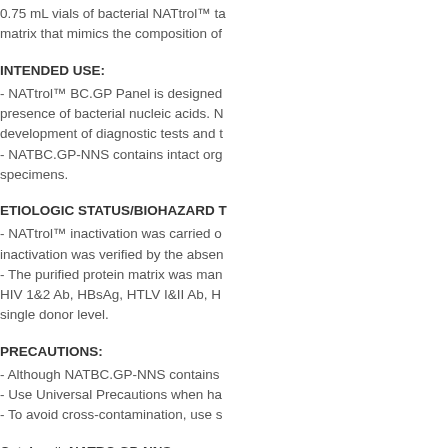0.75 mL vials of bacterial NATtrol™ ta... matrix that mimics the composition of...
INTENDED USE:
- NATtrol™ BC.GP Panel is designed... presence of bacterial nucleic acids. N... development of diagnostic tests and t...
- NATBC.GP-NNS contains intact org... specimens.
ETIOLOGIC STATUS/BIOHAZARD T...
- NATtrol™ inactivation was carried o... inactivation was verified by the absen...
- The purified protein matrix was man... HIV 1&2 Ab, HBsAg, HTLV I&II Ab, H... single donor level.
PRECAUTIONS:
- Although NATBC.GP-NNS contains...
- Use Universal Precautions when ha...
- To avoid cross-contamination, use s...
Catalog #: NATBC.GP-NNS
For more information donwload PDF
Published in  Promos